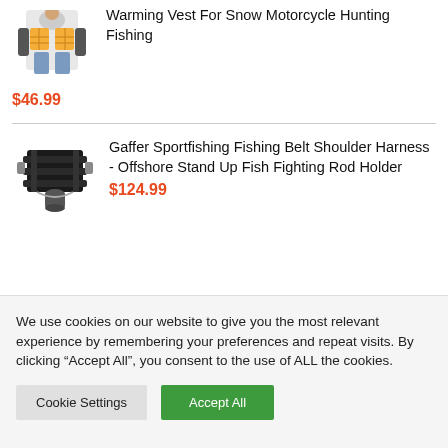[Figure (photo): Heated warming vest product image, person wearing orange-heated vest]
Warming Vest For Snow Motorcycle Hunting Fishing
$46.99
[Figure (photo): Gaffer Sportfishing Fishing Belt Shoulder Harness product image, black rod holder harness]
Gaffer Sportfishing Fishing Belt Shoulder Harness - Offshore Stand Up Fish Fighting Rod Holder
$124.99
We use cookies on our website to give you the most relevant experience by remembering your preferences and repeat visits. By clicking “Accept All”, you consent to the use of ALL the cookies.
Cookie Settings
Accept All